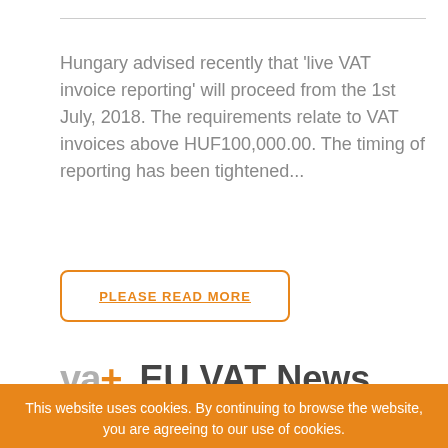Hungary advised recently that 'live VAT invoice reporting' will proceed from the 1st July, 2018. The requirements relate to VAT invoices above HUF100,000.00. The timing of reporting has been tightened...
PLEASE READ MORE
[Figure (logo): vat+ EU VAT News logo]
This website uses cookies. By continuing to browse the website, you are agreeing to our use of cookies.
READ MORE
ACCEPT